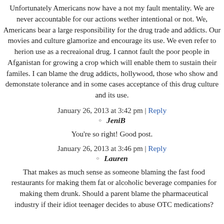Unfortunately Americans now have a not my fault mentality. We are never accountable for our actions wether intentional or not. We, Americans bear a large responsibility for the drug trade and addicts. Our movies and culture glamorize and encourage its use. We even refer to herion use as a recreaional drug. I cannot fault the poor people in Afganistan for growing a crop which will enable them to sustain their familes. I can blame the drug addicts, hollywood, those who show and demonstate tolerance and in some cases acceptance of this drug culture and its use.
January 26, 2013 at 3:42 pm | Reply
JeniB
You're so right! Good post.
January 26, 2013 at 3:46 pm | Reply
Lauren
That makes as much sense as someone blaming the fast food restaurants for making them fat or alcoholic beverage companies for making them drunk. Should a parent blame the pharmaceutical industry if their idiot teenager decides to abuse OTC medications?